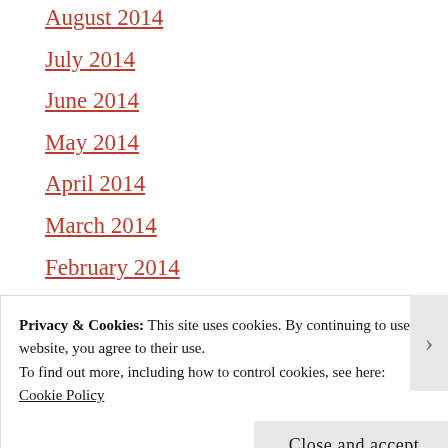August 2014
July 2014
June 2014
May 2014
April 2014
March 2014
February 2014
January 2014
December 2013
November 2013
Privacy & Cookies: This site uses cookies. By continuing to use this website, you agree to their use.
To find out more, including how to control cookies, see here:
Cookie Policy
Close and accept